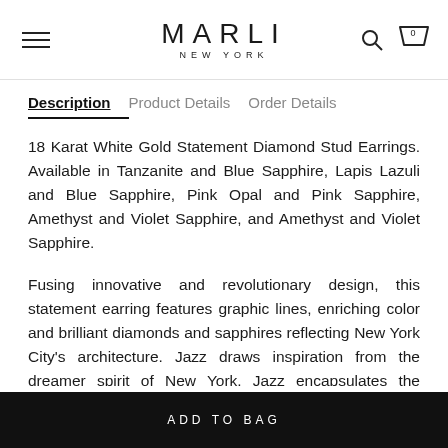MARLI NEW YORK
Description | Product Details | Order Details
18 Karat White Gold Statement Diamond Stud Earrings. Available in Tanzanite and Blue Sapphire, Lapis Lazuli and Blue Sapphire, Pink Opal and Pink Sapphire, Amethyst and Violet Sapphire, and Amethyst and Violet Sapphire.
Fusing innovative and revolutionary design, this statement earring features graphic lines, enriching color and brilliant diamonds and sapphires reflecting New York City's architecture. Jazz draws inspiration from the dreamer spirit of New York. Jazz encapsulates the strength and power inside oneself to make dreams into a reality. Jazz reflects the
ADD TO BAG